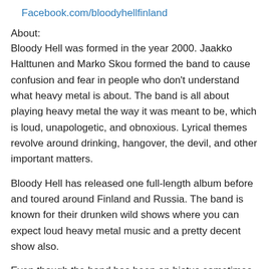Facebook.com/bloodyhellfinland
About:
Bloody Hell was formed in the year 2000. Jaakko Halttunen and Marko Skou formed the band to cause confusion and fear in people who don't understand what heavy metal is about. The band is all about playing heavy metal the way it was meant to be, which is loud, unapologetic, and obnoxious. Lyrical themes revolve around drinking, hangover, the devil, and other important matters.
Bloody Hell has released one full-length album before and toured around Finland and Russia. The band is known for their drunken wild shows where you can expect loud heavy metal music and a pretty decent show also.
Even though the band has been on hiatus sometimes it